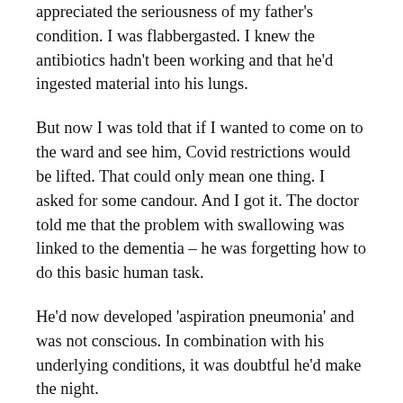appreciated the seriousness of my father's condition. I was flabbergasted. I knew the antibiotics hadn't been working and that he'd ingested material into his lungs.
But now I was told that if I wanted to come on to the ward and see him, Covid restrictions would be lifted. That could only mean one thing. I asked for some candour. And I got it. The doctor told me that the problem with swallowing was linked to the dementia – he was forgetting how to do this basic human task.
He'd now developed 'aspiration pneumonia' and was not conscious. In combination with his underlying conditions, it was doubtful he'd make the night.
But then he did.
All through Monday my father clung on. His breathing now becoming the classic 'death rattle'. And even though he